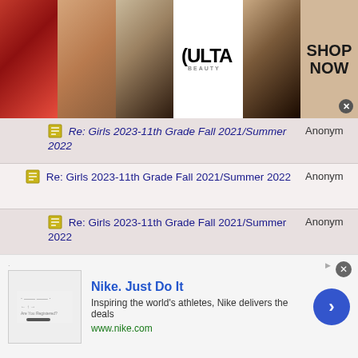[Figure (screenshot): Ulta Beauty advertisement banner at top with makeup images, ULTA logo, and SHOP NOW button with close X]
Re: Girls 2023-11th Grade Fall 2021/Summer 2022 | Anonym
Re: Girls 2023-11th Grade Fall 2021/Summer 2022 | Anonym
Re: Girls 2023-11th Grade Fall 2021/Summer 2022 | Anonym
Re: Girls 2023-11th Grade Fall 2021/Summer 2022 | Anonym
Re: Girls 2023-11th Grade Fall 2021/Summer 2022 | Anonym
Re: Girls 2023-11th Grade Fall 2021/Summer 2022 | Anonym
[Figure (screenshot): Nike advertisement at bottom: Nike. Just Do It. Inspiring the world's athletes, Nike delivers the deals. www.nike.com with arrow button]